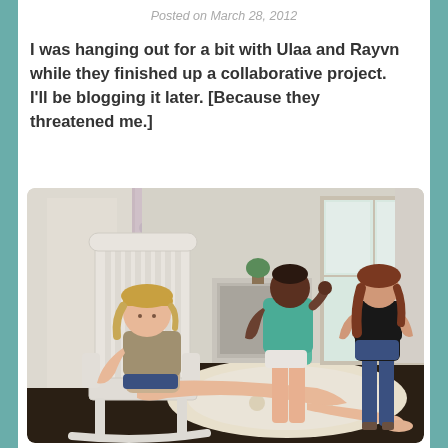Posted on March 28, 2012
I was hanging out for a bit with Ulaa and Rayvn while they finished up a collaborative project. I'll be blogging it later. [Because they threatened me.]
[Figure (photo): Screenshot from a virtual world (Second Life) showing three female avatars in a room. One avatar with blonde hair sits in a white wooden rocking chair with legs extended, wearing a tank top and shorts. Two other avatars stand in the background near large windows — one in a teal shirt, one in a black top and jeans. The room has a floral rug, dark wood floors, white walls with curtains, and a fireplace mantel.]